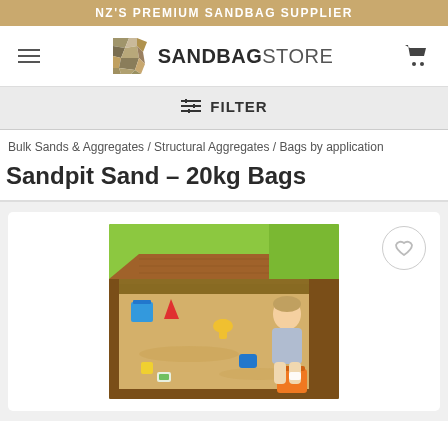NZ'S PREMIUM SANDBAG SUPPLIER
[Figure (logo): SandbagStore logo with mosaic stone icon and text SANDBAGSTORE]
FILTER
Bulk Sands & Aggregates / Structural Aggregates / Bags by application
Sandpit Sand – 20kg Bags
[Figure (photo): A child playing in a wooden sandpit with colorful toys (blue, red, yellow, orange, green buckets and spades) on green grass background]